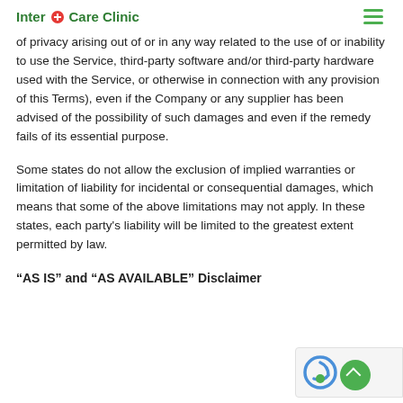Inter Care Clinic
of privacy arising out of or in any way related to the use of or inability to use the Service, third-party software and/or third-party hardware used with the Service, or otherwise in connection with any provision of this Terms), even if the Company or any supplier has been advised of the possibility of such damages and even if the remedy fails of its essential purpose.
Some states do not allow the exclusion of implied warranties or limitation of liability for incidental or consequential damages, which means that some of the above limitations may not apply. In these states, each party's liability will be limited to the greatest extent permitted by law.
“AS IS” and “AS AVAILABLE” Disclaimer